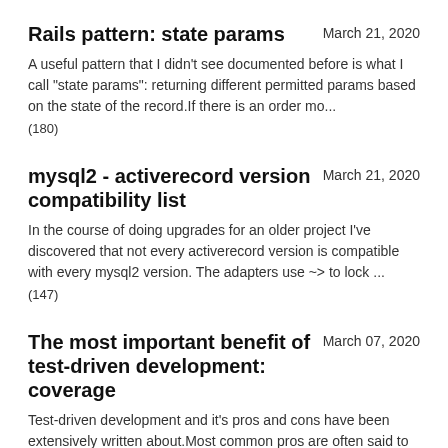Rails pattern: state params
March 21, 2020
A useful pattern that I didn't see documented before is what I call “state params”: returning different permitted params based on the state of the record.If there is an order mo...
(180)
mysql2 - activerecord version compatibility list
March 21, 2020
In the course of doing upgrades for an older project I've discovered that not every activerecord version is compatible with every mysql2 version. The adapters use ~> to lock ...
(147)
The most important benefit of test-driven development: coverage
March 07, 2020
Test-driven development and it's pros and cons have been extensively written about.Most common pros are often said to be having to think or plan your code out before writing,